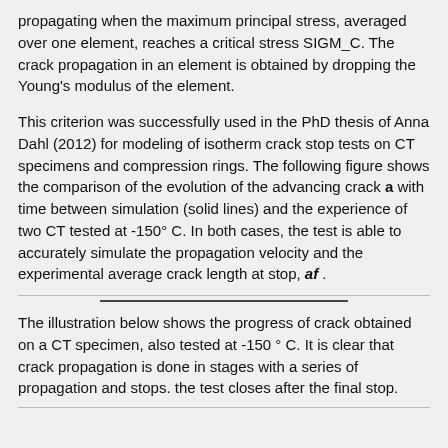propagating when the maximum principal stress, averaged over one element, reaches a critical stress SIGM_C. The crack propagation in an element is obtained by dropping the Young's modulus of the element.
This criterion was successfully used in the PhD thesis of Anna Dahl (2012) for modeling of isotherm crack stop tests on CT specimens and compression rings. The following figure shows the comparison of the evolution of the advancing crack a with time between simulation (solid lines) and the experience of two CT tested at -150° C. In both cases, the test is able to accurately simulate the propagation velocity and the experimental average crack length at stop, af .
The illustration below shows the progress of crack obtained on a CT specimen, also tested at -150 ° C. It is clear that crack propagation is done in stages with a series of propagation and stops. the test closes after the final stop.